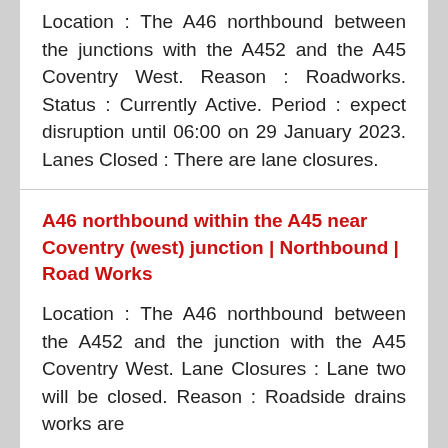Location : The A46 northbound between the junctions with the A452 and the A45 Coventry West. Reason : Roadworks. Status : Currently Active. Period : expect disruption until 06:00 on 29 January 2023. Lanes Closed : There are lane closures.
A46 northbound within the A45 near Coventry (west) junction | Northbound | Road Works
Location : The A46 northbound between the A452 and the junction with the A45 Coventry West. Lane Closures : Lane two will be closed. Reason : Roadside drains works are